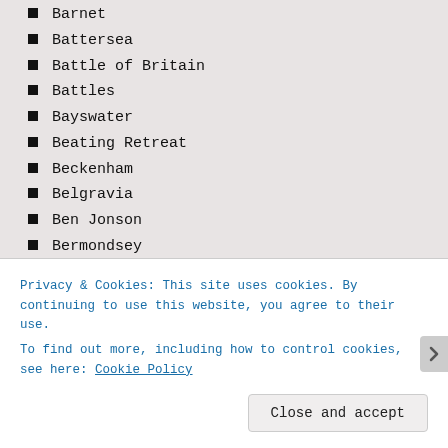Barnet
Battersea
Battle of Britain
Battles
Bayswater
Beating Retreat
Beckenham
Belgravia
Ben Jonson
Bermondsey
Bethnal Green
Bexleyheath
Billingsgate
Bishopsgate
Blackfriars
Privacy & Cookies: This site uses cookies. By continuing to use this website, you agree to their use.
To find out more, including how to control cookies, see here: Cookie Policy